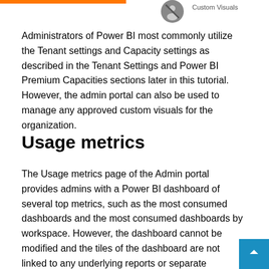Custom Visuals
Administrators of Power BI most commonly utilize the Tenant settings and Capacity settings as described in the Tenant Settings and Power BI Premium Capacities sections later in this tutorial. However, the admin portal can also be used to manage any approved custom visuals for the organization.
Usage metrics
The Usage metrics page of the Admin portal provides admins with a Power BI dashboard of several top metrics, such as the most consumed dashboards and the most consumed dashboards by workspace. However, the dashboard cannot be modified and the tiles of the dashboard are not linked to any underlying reports or separate dashboards to support further analysis.